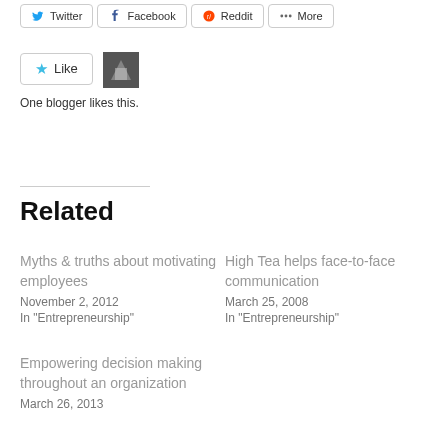[Figure (screenshot): Share buttons row: Twitter, Facebook, Reddit, More]
[Figure (screenshot): Like button with star icon and avatar thumbnail. Text: One blogger likes this.]
Related
Myths & truths about motivating employees
November 2, 2012
In "Entrepreneurship"
High Tea helps face-to-face communication
March 25, 2008
In "Entrepreneurship"
Empowering decision making throughout an organization
March 26, 2013